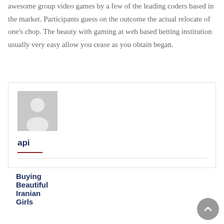awesome group video games by a few of the leading coders based in the market. Participants guess on the outcome the actual relocate of one's chop. The beauty with gaming at web based betting institution usually very easy allow you cease as you obtain began.
[Figure (illustration): Author avatar box with a grey placeholder person silhouette icon, author name 'api' in dark navy bold text, a short dark red horizontal rule separator line below the name, and a long light grey full-width horizontal rule.]
Buying Beautiful Iranian Girls